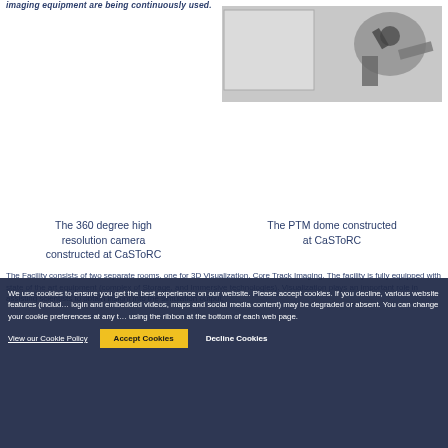imaging equipment are being continuously used.
[Figure (photo): Black and white photo of the PTM dome imaging equipment at CaSToRC, showing a dome-shaped structure with mechanical arms.]
The 360 degree high resolution camera constructed at CaSToRC
The PTM dome constructed at CaSToRC
The Facility consists of two separate rooms, one for 3D Visualization, Core Track Imaging. The facility is fully equipped with state of the art equipment (complex of Storage, and Immersive technologies). Visualization plays an important role in assisting scientists to obtain insight into the simulation output.
We use cookies to ensure you get the best experience on our website. Please accept cookies. If you decline, various website features (including login and embedded videos, maps and social media content) may be degraded or absent. You can change your cookie preferences at any time using the ribbon at the bottom of each web page.
View our Cookie Policy
Accept Cookies
Decline Cookies